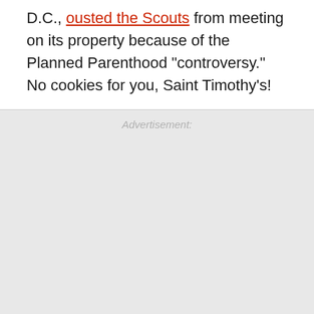D.C., ousted the Scouts from meeting on its property because of the Planned Parenthood "controversy." No cookies for you, Saint Timothy's!
Advertisement: